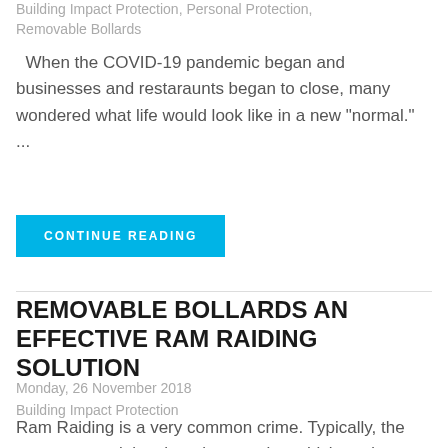Building Impact Protection, Personal Protection, Removable Bollards
When the COVID-19 pandemic began and businesses and restaraunts began to close, many wondered what life would look like in a new "normal." ...
CONTINUE READING
REMOVABLE BOLLARDS AN EFFECTIVE RAM RAIDING SOLUTION
Monday, 26 November 2018
Building Impact Protection
Ram Raiding is a very common crime. Typically, the person committing the crime steal a vehicle and